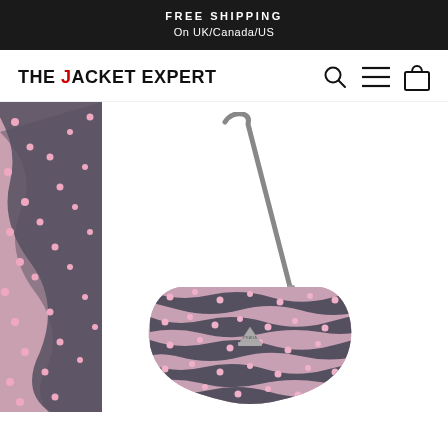FREE SHIPPING
On UK/Canada/US
[Figure (logo): THE JACKET EXPERT logo with navigation icons (search, hamburger menu, shopping bag)]
[Figure (photo): Pink and dark gray patterned Prada shoulder bag (cleo style) with swirling dot motif, shown against white background. Partial second bag visible on left edge.]